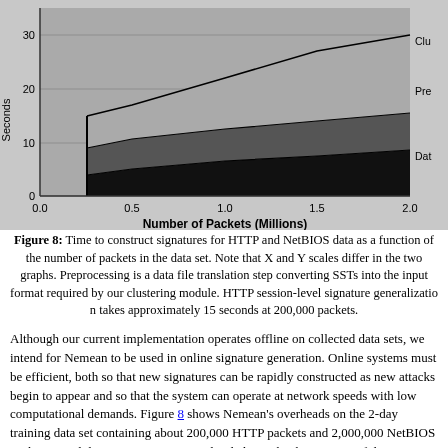[Figure (area-chart): Stacked area chart showing time in seconds vs number of packets (millions) from 0 to 2.0, with areas for Data (black), Preprocessing (dark gray), and Clustering (light gray) layers stacked, reaching ~30 seconds at 2.0 million packets.]
Figure 8: Time to construct signatures for HTTP and NetBIOS data as a function of the number of packets in the data set. Note that X and Y scales differ in the two graphs. Preprocessing is a data file translation step converting SSTs into the input format required by our clustering module. HTTP session-level signature generalization takes approximately 15 seconds at 200,000 packets.
Although our current implementation operates offline on collected data sets, we intend for Nemean to be used in online signature generation. Online systems must be efficient, both so that new signatures can be rapidly constructed as new attacks begin to appear and so that the system can operate at network speeds with low computational demands. Figure 8 shows Nemean's overheads on the 2-day training data set containing about 200,000 HTTP packets and 2,000,000 NetBIOS packets. Total data processing time is divided into the three stages of data abstraction, clustering, and automaton generalization plus an additional preprocessing step that translated SSTs produced by the DAL into the input format for